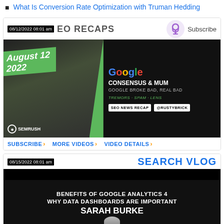What Is Conversion Rate Optimization with Truman Hedding
VIDEO RECAPS | 08/12/2022 08:01 am | Subscribe
[Figure (screenshot): SEO News Recap video thumbnail for August 12 2022 featuring Google Consensus & MUM, SEMRUSH branding, @RustyBrick]
SUBSCRIBE | MORE VIDEOS | VIDEO DETAILS
SEARCH VLOG | 08/15/2022 08:01 am
[Figure (screenshot): Search Vlog video thumbnail: Benefits of Google Analytics 4, Why Data Dashboards Are Important, Sarah Burke]